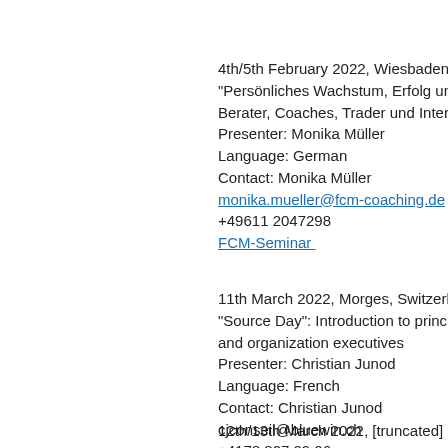4th/5th February 2022, Wiesbaden, Germany
"Persönliches Wachstum, Erfolg und Geld" [truncated]
Berater, Coaches, Trader und Interessierte [truncated]
Presenter: Monika Müller
Language: German
Contact: Monika Müller
monika.mueller@fcm-coaching.de
+49611 2047298
FCM-Seminar
11th March 2022, Morges, Switzerland
"Source Day": Introduction to principles of [truncated]
and organization executives
Presenter: Christian Junod
Language: French
Contact: Christian Junod
cjconseil@bluewin.ch
+4178 827 09 06
https://www.cjunodconseil.com/source-m[truncated]
12th/13th March 2022, [truncated]